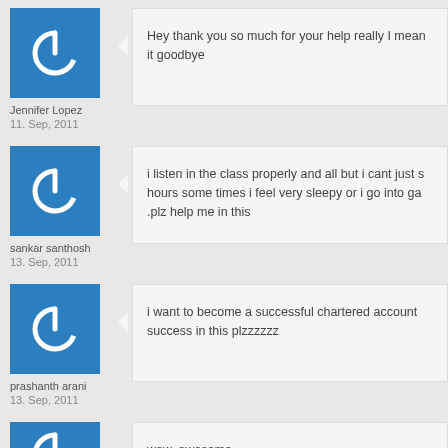[Figure (illustration): Blue square avatar with white power button icon for Jennifer Lopez]
Jennifer Lopez
11. Sep, 2011
Hey thank you so much for your help really I mean it goodbye
[Figure (illustration): Blue square avatar with white power button icon for sankar santhosh]
sankar santhosh
13. Sep, 2011
i listen in the class properly and all but i cant just s hours some times i feel very sleepy or i go into ga .plz help me in this
[Figure (illustration): Blue square avatar with white power button icon for prashanth arani]
prashanth arani
13. Sep, 2011
i want to become a successful chartered account success in this plzzzzzz
[Figure (illustration): Blue square avatar with white power button icon (partial, bottom of page)]
wow, awesome